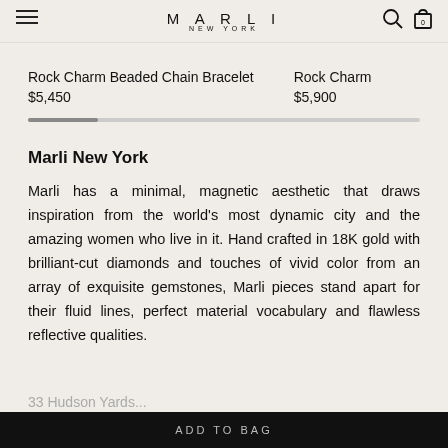MARLI NEW YORK
Rock Charm Beaded Chain Bracelet
$5,450
Rock Charm
$5,900
Marli New York
Marli has a minimal, magnetic aesthetic that draws inspiration from the world's most dynamic city and the amazing women who live in it. Hand crafted in 18K gold with brilliant-cut diamonds and touches of vivid color from an array of exquisite gemstones, Marli pieces stand apart for their fluid lines, perfect material vocabulary and flawless reflective qualities.
ADD TO BAG